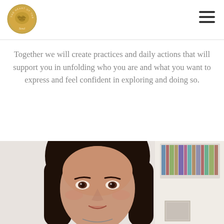[Figure (logo): Circular gold medallion logo with text 'THE HEART OF THE SOUL' around the border and 'Soul' at the bottom, with a brain-like design in the center]
Together we will create practices and daily actions that will support you in unfolding who you are and what you want to express and feel confident in exploring and doing so.
[Figure (photo): Close-up portrait photo of a woman with long dark brown/black hair, brown eyes, and light-medium skin tone, smiling slightly. She is wearing a necklace and there is a white bookshelf with books visible in the background.]